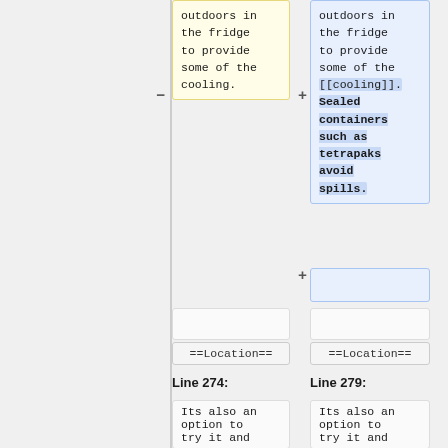outdoors in the fridge to provide some of the cooling.
outdoors in the fridge to provide some of the [[cooling]]. Sealed containers such as tetrapaks avoid spills.
==Location==
==Location==
Line 274:
Line 279:
Its also an option to try it and
Its also an option to try it and